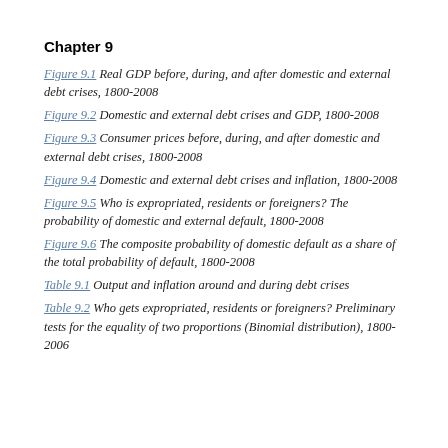Chapter 9
Figure 9.1 Real GDP before, during, and after domestic and external debt crises, 1800-2008
Figure 9.2 Domestic and external debt crises and GDP, 1800-2008
Figure 9.3 Consumer prices before, during, and after domestic and external debt crises, 1800-2008
Figure 9.4 Domestic and external debt crises and inflation, 1800-2008
Figure 9.5 Who is expropriated, residents or foreigners? The probability of domestic and external default, 1800-2008
Figure 9.6 The composite probability of domestic default as a share of the total probability of default, 1800-2008
Table 9.1 Output and inflation around and during debt crises
Table 9.2 Who gets expropriated, residents or foreigners? Preliminary tests for the equality of two proportions (Binomial distribution), 1800-2006